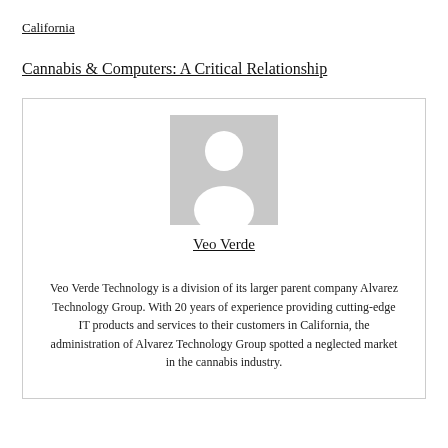California
Cannabis & Computers: A Critical Relationship
[Figure (photo): Placeholder profile image with grey background showing a generic person silhouette icon]
Veo Verde
Veo Verde Technology is a division of its larger parent company Alvarez Technology Group. With 20 years of experience providing cutting-edge IT products and services to their customers in California, the administration of Alvarez Technology Group spotted a neglected market in the cannabis industry.